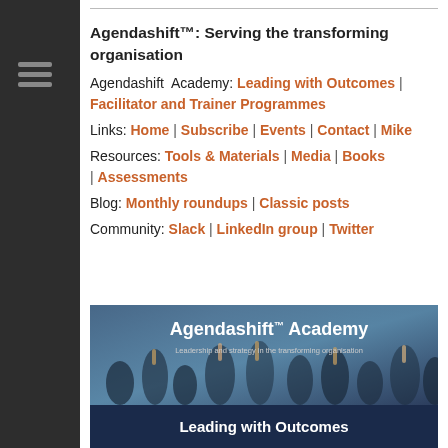Agendashift™: Serving the transforming organisation
Agendashift Academy: Leading with Outcomes | Facilitator and Trainer Programmes
Links: Home | Subscribe | Events | Contact | Mike
Resources: Tools & Materials | Media | Books | Assessments
Blog: Monthly roundups | Classic posts
Community: Slack | LinkedIn group | Twitter
[Figure (photo): Agendashift Academy banner with people celebrating/collaborating in background. Text reads: Agendashift™ Academy, Leadership and strategy in the transforming organisation, Leading with Outcomes]